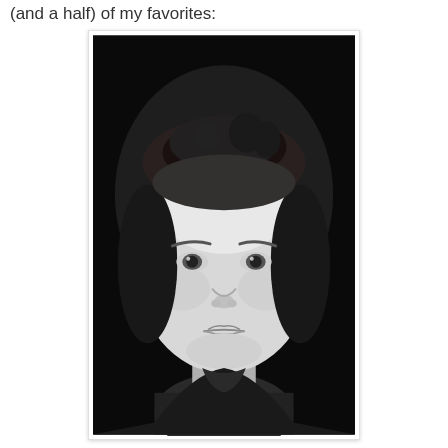(and a half) of my favorites:
[Figure (photo): Black and white portrait photograph of a young boy with short hair, looking directly at the camera with a serious, slightly frowning expression. The background is dark/black. The boy is wearing a dark shirt.]